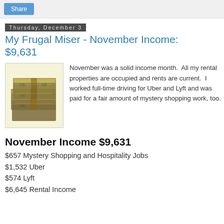Share
Thursday, December 3
My Frugal Miser - November Income: $9,631
[Figure (photo): A stack of bundled US $100 bills piled on a light yellow background]
November was a solid income month.  All my rental properties are occupied and rents are current.  I worked full-time driving for Uber and Lyft and was paid for a fair amount of mystery shopping work, too.
November Income $9,631
$657 Mystery Shopping and Hospitality Jobs
$1,532 Uber
$574 Lyft
$6,645 Rental Income